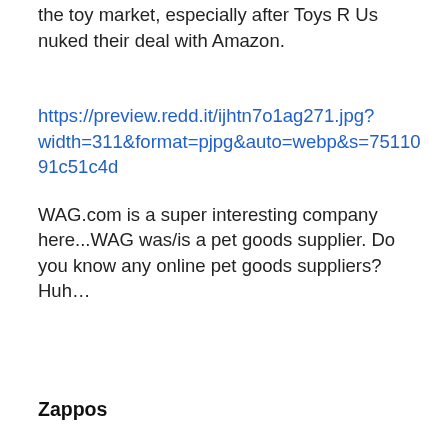the toy market, especially after Toys R Us nuked their deal with Amazon.
https://preview.redd.it/ijhtn7o1ag271.jpg?width=311&format=pjpg&auto=webp&s=7511091c51c4d
WAG.com is a super interesting company here...WAG was/is a pet goods supplier. Do you know any online pet goods suppliers? Huh…
Zappos
https://preview.redd.it/jozjlzoaag271.png?width=200&format=png&auto=webp&s=70a4a67036edd
In 2009 Amazon acquired Zappos for $1.2B, again not cheap. And to add further injury to insult, amazon couldn't kill Zappos because the deal left the CEO of Zappos in place and allowed it to operate